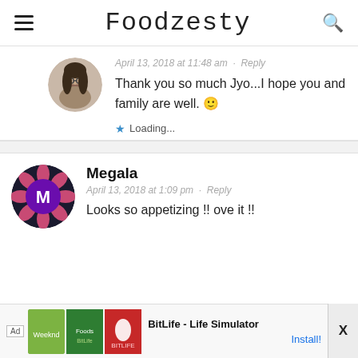Foodzesty
[Figure (photo): Circular avatar photo of a woman with glasses and dark hair]
April 13, 2018 at 11:48 am · Reply
Thank you so much Jyo...I hope you and family are well. 🙂
Loading...
[Figure (photo): Circular avatar with a stylized M logo on dark background with pink lotus flower design]
Megala
April 13, 2018 at 1:09 pm · Reply
Looks so appetizing !! ove it !!
[Figure (screenshot): Ad banner for BitLife - Life Simulator app with Install button]